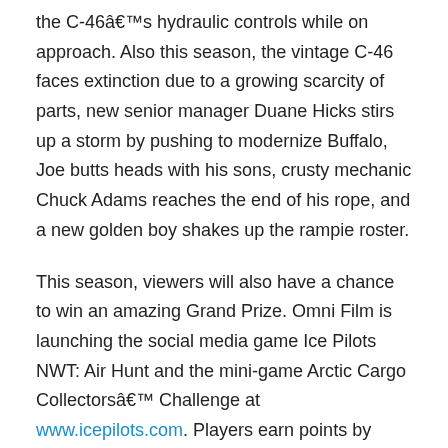the C-46’s hydraulic controls while on approach. Also this season, the vintage C-46 faces extinction due to a growing scarcity of parts, new senior manager Duane Hicks stirs up a storm by pushing to modernize Buffalo, Joe butts heads with his sons, crusty mechanic Chuck Adams reaches the end of his rope, and a new golden boy shakes up the rampie roster.
This season, viewers will also have a chance to win an amazing Grand Prize. Omni Film is launching the social media game Ice Pilots NWT: Air Hunt and the mini-game Arctic Cargo Collectors’ Challenge at www.icepilots.com. Players earn points by collecting cargo hidden throughout the Ice Pilots NWT online world. Weekly prizes will be awarded to players with the highest points and after the season finale, the player with the most total points